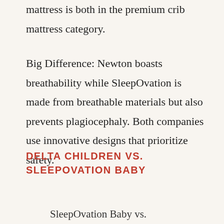mattress is both in the premium crib mattress category.
Big Difference: Newton boasts breathability while SleepOvation is made from breathable materials but also prevents plagiocephaly. Both companies use innovative designs that prioritize safety.
DELTA CHILDREN VS. SLEEPOVATION BABY
SleepOvation Baby vs.